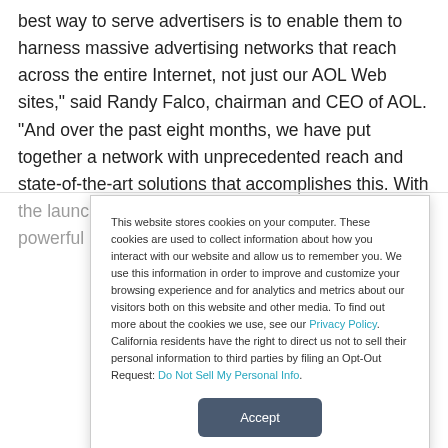best way to serve advertisers is to enable them to harness massive advertising networks that reach across the entire Internet, not just our AOL Web sites," said Randy Falco, chairman and CEO of AOL. "And over the past eight months, we have put together a network with unprecedented reach and state-of-the-art solutions that accomplishes this. With the launch of Platform A, we are unleashing this powerful network
This website stores cookies on your computer. These cookies are used to collect information about how you interact with our website and allow us to remember you. We use this information in order to improve and customize your browsing experience and for analytics and metrics about our visitors both on this website and other media. To find out more about the cookies we use, see our Privacy Policy. California residents have the right to direct us not to sell their personal information to third parties by filing an Opt-Out Request: Do Not Sell My Personal Info.